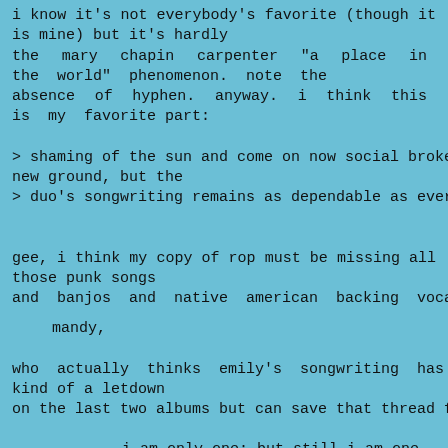i know it's not everybody's favorite (though it is mine) but it's hardly the mary chapin carpenter "a place in the world" phenomenon. note the absence of hyphen. anyway. i think this is my favorite part:
> shaming of the sun and come on now social broke no new ground, but the
> duo's songwriting remains as dependable as ever.
gee, i think my copy of rop must be missing all those punk songs and banjos and native american backing vocals. <eyeroll>
mandy,
  who actually thinks emily's songwriting has been kind of a letdown on the last two albums but can save that thread for later
i am only one; but still i am one.
i cannot do everything,
but still i can do something.
i will not refuse to do the something i can do.
~ helen keller